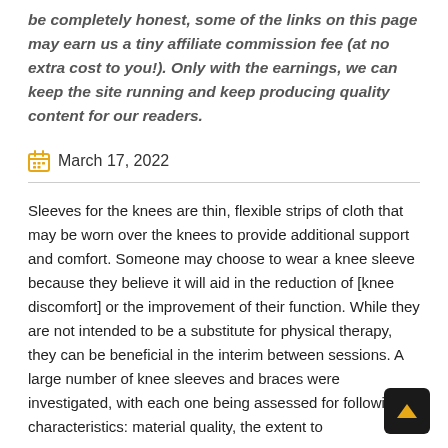be completely honest, some of the links on this page may earn us a tiny affiliate commission fee (at no extra cost to you!). Only with the earnings, we can keep the site running and keep producing quality content for our readers.
March 17, 2022
Sleeves for the knees are thin, flexible strips of cloth that may be worn over the knees to provide additional support and comfort. Someone may choose to wear a knee sleeve because they believe it will aid in the reduction of [knee discomfort] or the improvement of their function. While they are not intended to be a substitute for physical therapy, they can be beneficial in the interim between sessions. A large number of knee sleeves and braces were investigated, with each one being assessed for following characteristics: material quality, the extent to